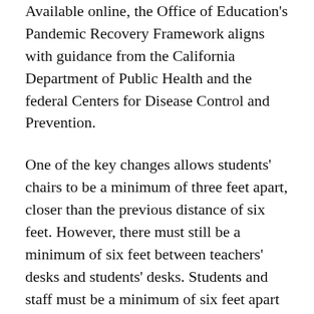Available online, the Office of Education's Pandemic Recovery Framework aligns with guidance from the California Department of Public Health and the federal Centers for Disease Control and Prevention.
One of the key changes allows students' chairs to be a minimum of three feet apart, closer than the previous distance of six feet. However, there must still be a minimum of six feet between teachers' desks and students' desks. Students and staff must be a minimum of six feet apart if unmasked — for example, when eating or drinking.
If a fully vaccinated person is identified as a close contact of a positive COVID-19 case but they do not exhibit symptoms, they do not have to quarantine, but a